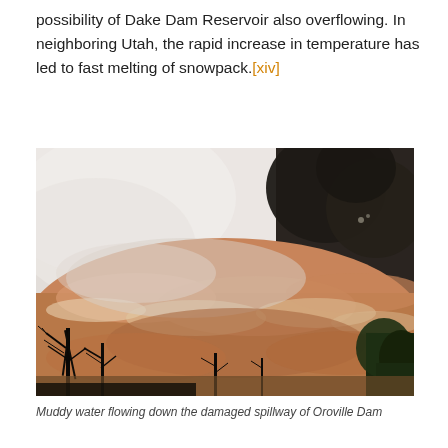possibility of Dake Dam Reservoir also overflowing. In neighboring Utah, the rapid increase in temperature has led to fast melting of snowpack.[xiv]
[Figure (photo): Photograph of muddy brown water flowing violently down a damaged spillway, with bare tree silhouettes in the foreground and mist/spray in the background.]
Muddy water flowing down the damaged spillway of Oroville Dam